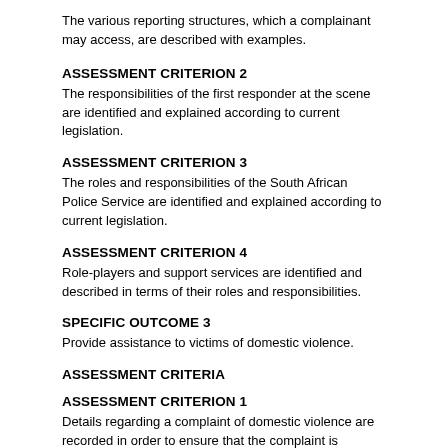The various reporting structures, which a complainant may access, are described with examples.
ASSESSMENT CRITERION 2
The responsibilities of the first responder at the scene are identified and explained according to current legislation.
ASSESSMENT CRITERION 3
The roles and responsibilities of the South African Police Service are identified and explained according to current legislation.
ASSESSMENT CRITERION 4
Role-players and support services are identified and described in terms of their roles and responsibilities.
SPECIFIC OUTCOME 3
Provide assistance to victims of domestic violence.
ASSESSMENT CRITERIA
ASSESSMENT CRITERION 1
Details regarding a complaint of domestic violence are recorded in order to ensure that the complaint is attended to.
ASSESSMENT CRITERION 2
The scene is observed and secured without compromising own safety and the safety of others.